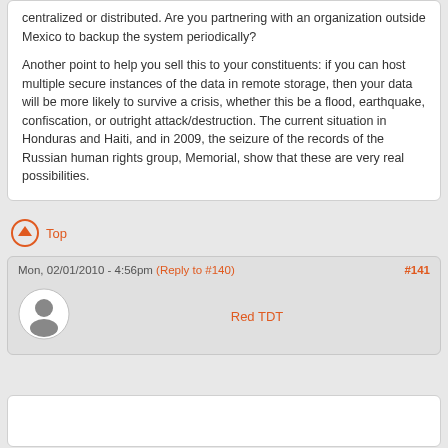centralized or distributed. Are you partnering with an organization outside Mexico to backup the system periodically?

Another point to help you sell this to your constituents: if you can host multiple secure instances of the data in remote storage, then your data will be more likely to survive a crisis, whether this be a flood, earthquake, confiscation, or outright attack/destruction. The current situation in Honduras and Haiti, and in 2009, the seizure of the records of the Russian human rights group, Memorial, show that these are very real possibilities.
Top
Mon, 02/01/2010 - 4:56pm (Reply to #140) #141
[Figure (illustration): User avatar placeholder icon showing a generic person silhouette in a circle]
Red TDT